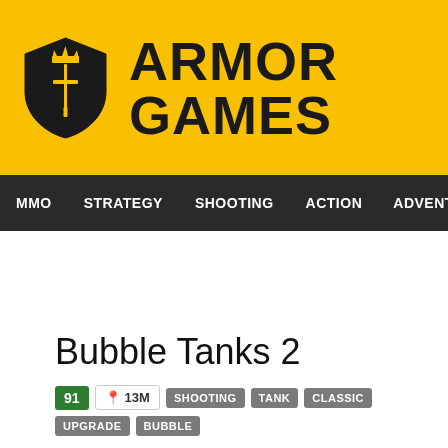ARMOR GAMES
MMO  STRATEGY  SHOOTING  ACTION  ADVENTURE  P
Bubble Tanks 2
91  📍 13M  SHOOTING  TANK  CLASSIC  UPGRADE  BUBBLE